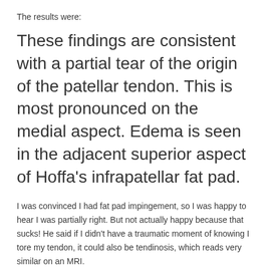The results were:
These findings are consistent with a partial tear of the origin of the patellar tendon. This is most pronounced on the medial aspect. Edema is seen in the adjacent superior aspect of Hoffa's infrapatellar fat pad.
I was convinced I had fat pad impingement, so I was happy to hear I was partially right. But not actually happy because that sucks! He said if I didn't have a traumatic moment of knowing I tore my tendon, it could also be tendinosis, which reads very similar on an MRI.